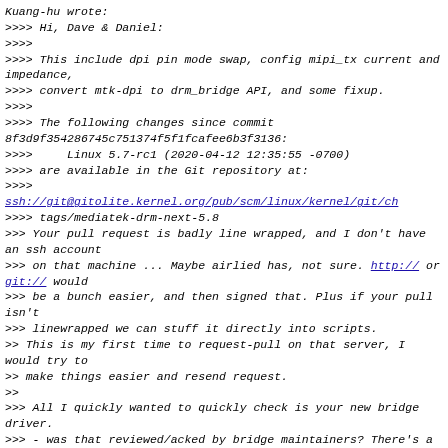Kuang-hu wrote:
>>>> Hi, Dave & Daniel:
>>>>
>>>> This include dpi pin mode swap, config mipi_tx current and impedance,
>>>> convert mtk-dpi to drm_bridge API, and some fixup.
>>>>
>>>> The following changes since commit 8f3d9f354286745c751374f5f1fcafee6b3f3136:
>>>>     Linux 5.7-rc1 (2020-04-12 12:35:55 -0700)
>>>> are available in the Git repository at:
>>>>
ssh://git@gitolite.kernel.org/pub/scm/linux/kernel/git/ch
>>>> tags/mediatek-drm-next-5.8
>>> Your pull request is badly line wrapped, and I don't have an ssh account
>>> on that machine ... Maybe airlied has, not sure. http:// or git:// would
>>> be a bunch easier, and then signed that. Plus if your pull isn't
>>> linewrapped we can stuff it directly into scripts.
>> This is my first time to request-pull on that server, I would try to
>> make things easier and resend request.
>>
>>> All I quickly wanted to quickly check is your new bridge driver.
>>> - was that reviewed/acked by bridge maintainers? There's a lot of rework
>>>     going on right now, need to make sure we're not adding new bridge...